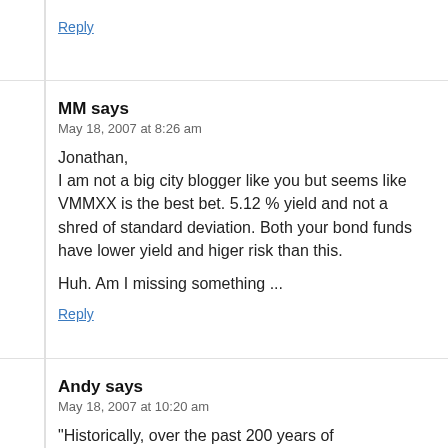Reply
MM says
May 18, 2007 at 8:26 am
Jonathan,
I am not a big city blogger like you but seems like VMMXX is the best bet. 5.12 % yield and not a shred of standard deviation. Both your bond funds have lower yield and higer risk than this.

Huh. Am I missing something ...
Reply
Andy says
May 18, 2007 at 10:20 am
"Historically, over the past 200 years of